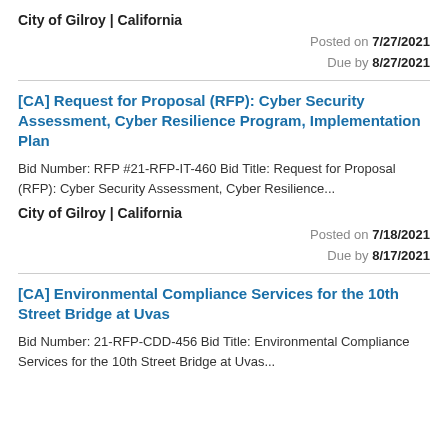City of Gilroy | California
Posted on 7/27/2021
Due by 8/27/2021
[CA] Request for Proposal (RFP): Cyber Security Assessment, Cyber Resilience Program, Implementation Plan
Bid Number: RFP #21-RFP-IT-460 Bid Title: Request for Proposal (RFP): Cyber Security Assessment, Cyber Resilience...
City of Gilroy | California
Posted on 7/18/2021
Due by 8/17/2021
[CA] Environmental Compliance Services for the 10th Street Bridge at Uvas
Bid Number: 21-RFP-CDD-456 Bid Title: Environmental Compliance Services for the 10th Street Bridge at Uvas...